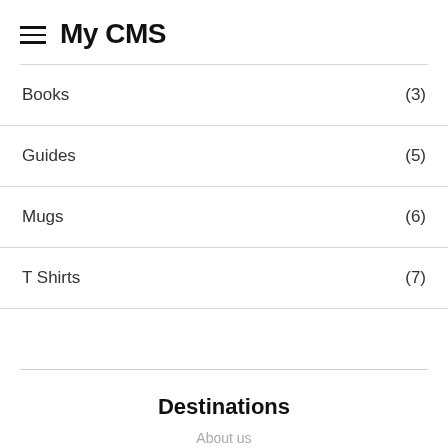My CMS
Books (3)
Guides (5)
Mugs (6)
T Shirts (7)
Destinations
About us